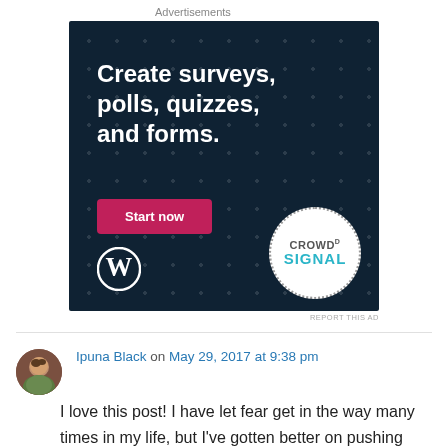Advertisements
[Figure (illustration): Advertisement banner for Crowd Signal / WordPress plugin: dark navy background with dot pattern, white bold text 'Create surveys, polls, quizzes, and forms.', pink 'Start now' button, WordPress W logo bottom-left, Crowd Signal circular logo bottom-right.]
REPORT THIS AD
Ipuna Black on May 29, 2017 at 9:38 pm
I love this post! I have let fear get in the way many times in my life, but I've gotten better on pushing past it.